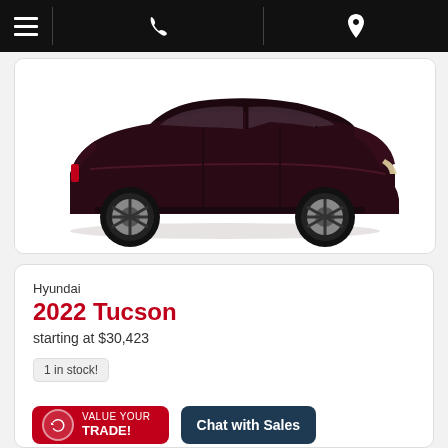Navigation bar with menu, phone, and location icons
[Figure (photo): Side profile of a dark maroon/black Hyundai Tucson SUV on white background]
Hyundai
2022 Tucson
starting at $30,423
1 in stock!
VALUE YOUR TRADE!
Chat with Sales